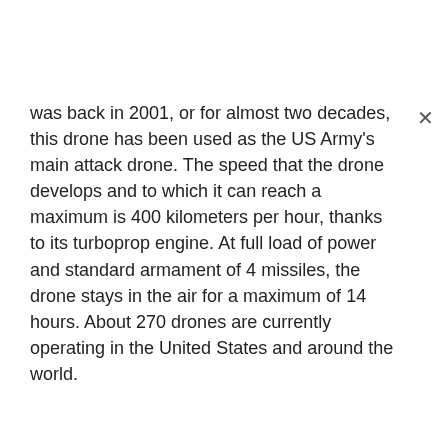was back in 2001, or for almost two decades, this drone has been used as the US Army's main attack drone. The speed that the drone develops and to which it can reach a maximum is 400 kilometers per hour, thanks to its turboprop engine. At full load of power and standard armament of 4 missiles, the drone stays in the air for a maximum of 14 hours. About 270 drones are currently operating in the United States and around the world.